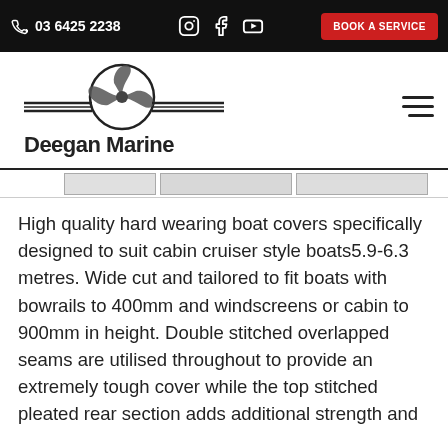03 6425 2238 | BOOK A SERVICE
[Figure (logo): Deegan Marine logo with propeller graphic and horizontal lines]
High quality hard wearing boat covers specifically designed to suit cabin cruiser style boats5.9-6.3 metres. Wide cut and tailored to fit boats with bowrails to 400mm and windscreens or cabin to 900mm in height. Double stitched overlapped seams are utilised throughout to provide an extremely tough cover while the top stitched pleated rear section adds additional strength and